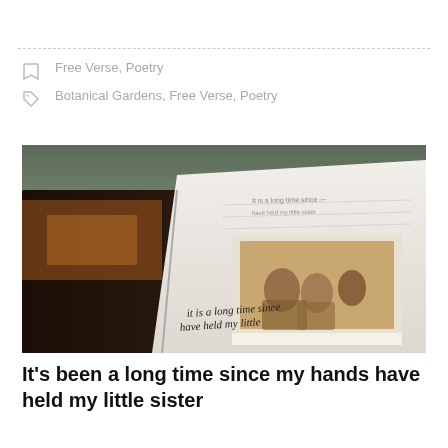Free Verse, Poetry
Botanical Gardens, Free Verse, Poetry
[Figure (photo): Open journal/notebook on a table with handwritten text reading 'It is a long time since I have held my little' and a polaroid photo tucked inside showing people, with another dark book or cover partially visible.]
It's been a long time since my hands have held my little sister